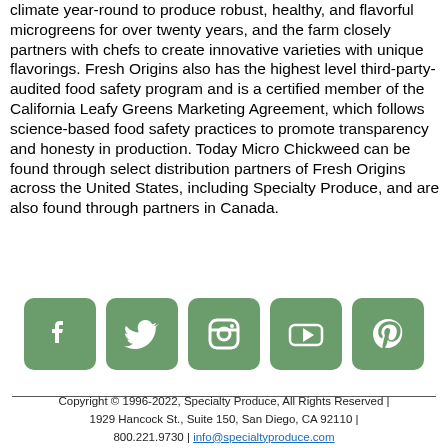climate year-round to produce robust, healthy, and flavorful microgreens for over twenty years, and the farm closely partners with chefs to create innovative varieties with unique flavorings. Fresh Origins also has the highest level third-party-audited food safety program and is a certified member of the California Leafy Greens Marketing Agreement, which follows science-based food safety practices to promote transparency and honesty in production. Today Micro Chickweed can be found through select distribution partners of Fresh Origins across the United States, including Specialty Produce, and are also found through partners in Canada.
[Figure (other): Row of five social media icons: Facebook, Twitter, Instagram, YouTube, Pinterest — all in sage/olive green rounded square style]
Copyright © 1996-2022, Specialty Produce, All Rights Reserved | 1929 Hancock St., Suite 150, San Diego, CA 92110 | 800.221.9730 | info@specialtyproduce.com Privacy Policy